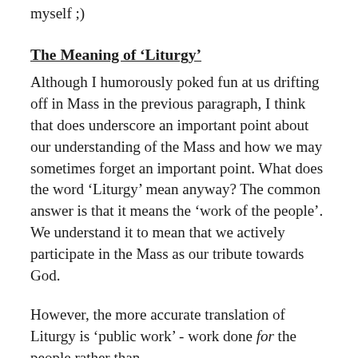myself ;)
The Meaning of ‘Liturgy’
Although I humorously poked fun at us drifting off in Mass in the previous paragraph, I think that does underscore an important point about our understanding of the Mass and how we may sometimes forget an important point. What does the word ‘Liturgy’ mean anyway? The common answer is that it means the ‘work of the people’. We understand it to mean that we actively participate in the Mass as our tribute towards God.
However, the more accurate translation of Liturgy is ‘public work’ - work done for the people rather than